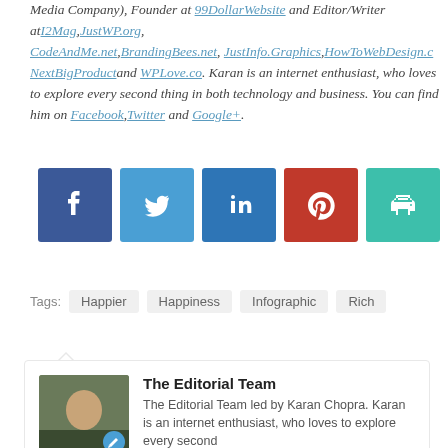Media Company), Founder at 99DollarWebsite and Editor/Writer at I2Mag, JustWP.org, CodeAndMe.net, BrandingBees.net, JustInfo.Graphics, HowToWebDesign.co, NextBigProduct and WPLove.co. Karan is an internet enthusiast, who loves to explore every second thing in both technology and business. You can find him on Facebook, Twitter and Google+.
[Figure (infographic): Social sharing buttons: Facebook (dark blue), Twitter (light blue), LinkedIn (medium blue), Pinterest (red), Print (teal)]
Tags: Happier  Happiness  Infographic  Rich
The Editorial Team
The Editorial Team led by Karan Chopra. Karan is an internet enthusiast, who loves to explore every second